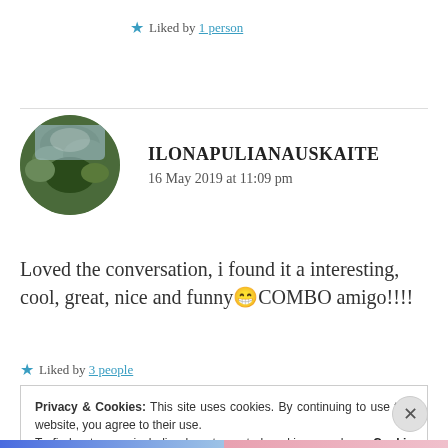★ Liked by 1 person
ILONAPULIANAUSKAITE
16 May 2019 at 11:09 pm
[Figure (photo): Circular avatar image showing trees and sky]
Loved the conversation, i found it a interesting, cool, great, nice and funny😁COMBO amigo!!!!
★ Liked by 3 people
Privacy & Cookies: This site uses cookies. By continuing to use this website, you agree to their use.
To find out more, including how to control cookies, see here: Cookie Policy
Close and accept